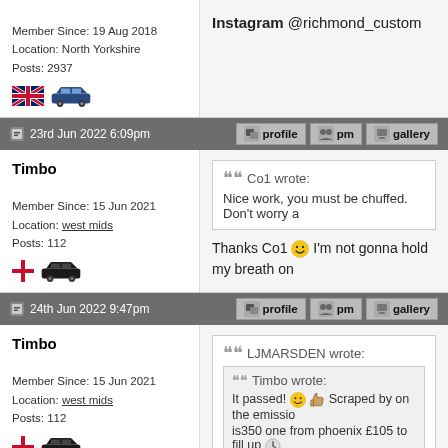Member Since: 19 Aug 2018
Location: North Yorkshire
Posts: 2937
Instagram @richmond_custom
23rd Jun 2022 6:09pm
Timbo
Member Since: 15 Jun 2021
Location: west mids
Posts: 112
Co1 wrote: Nice work, you must be chuffed. Don't worry a
Thanks Co1 😊 I'm not gonna hold my breath on
24th Jun 2022 9:47pm
Timbo
Member Since: 15 Jun 2021
Location: west mids
Posts: 112
LJMARSDEN wrote: Timbo wrote: It passed! 😊 Scraped by on the emissio is350 one from phoenix £105 to fill up